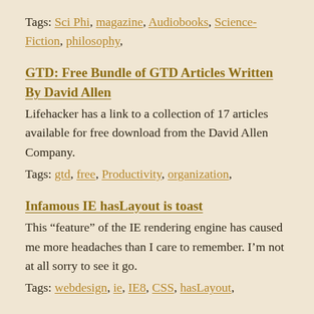Tags: Sci Phi, magazine, Audiobooks, Science-Fiction, philosophy,
GTD: Free Bundle of GTD Articles Written By David Allen
Lifehacker has a link to a collection of 17 articles available for free download from the David Allen Company.
Tags: gtd, free, Productivity, organization,
Infamous IE hasLayout is toast
This “feature” of the IE rendering engine has caused me more headaches than I care to remember. I’m not at all sorry to see it go.
Tags: webdesign, ie, IE8, CSS, hasLayout,